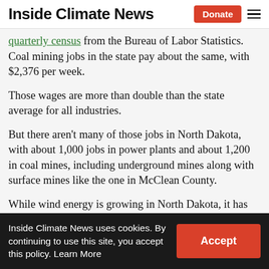Inside Climate News
quarterly census from the Bureau of Labor Statistics. Coal mining jobs in the state pay about the same, with $2,376 per week.
Those wages are more than double than the state average for all industries.
But there aren’t many of those jobs in North Dakota, with about 1,000 jobs in power plants and about 1,200 in coal mines, including underground mines along with surface mines like the one in McClean County.
While wind energy is growing in North Dakota, it has few permanent jobs. The Bureau of Labor
Inside Climate News uses cookies. By continuing to use this site, you accept this policy. Learn More